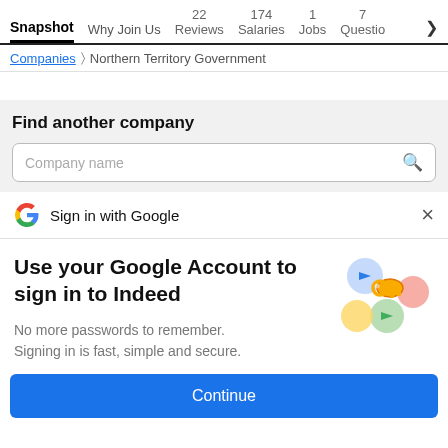Snapshot  Why Join Us  22 Reviews  174 Salaries  1 Jobs  7 Questio >
Companies > Northern Territory Government
Find another company
Company name
Sign in with Google  ×
Use your Google Account to sign in to Indeed
No more passwords to remember.
Signing in is fast, simple and secure.
[Figure (illustration): Google sign-in illustration with a golden key and colorful circular icons]
Continue